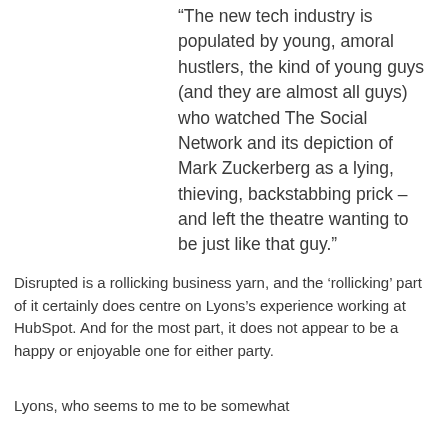“The new tech industry is populated by young, amoral hustlers, the kind of young guys (and they are almost all guys) who watched The Social Network and its depiction of Mark Zuckerberg as a lying, thieving, backstabbing prick – and left the theatre wanting to be just like that guy.”
Disrupted is a rollicking business yarn, and the ‘rollicking’ part of it certainly does centre on Lyons’s experience working at HubSpot. And for the most part, it does not appear to be a happy or enjoyable one for either party.
Lyons, who seems to me to be somewhat...